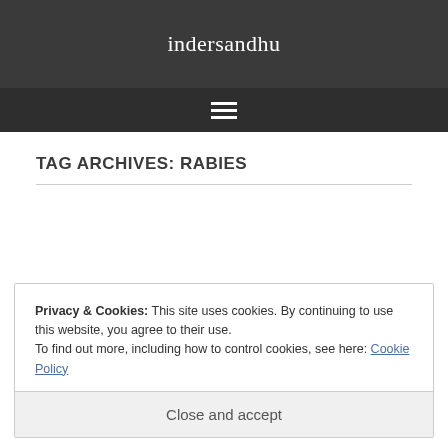indersandhu
TAG ARCHIVES: RABIES
Privacy & Cookies: This site uses cookies. By continuing to use this website, you agree to their use.
To find out more, including how to control cookies, see here: Cookie Policy
Close and accept